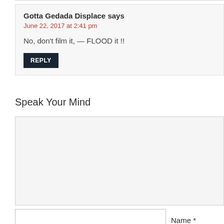Gotta Gedada Displace says
June 22, 2017 at 2:41 pm
No, don't film it, — FLOOD it !!
REPLY
Speak Your Mind
Name *
Email *